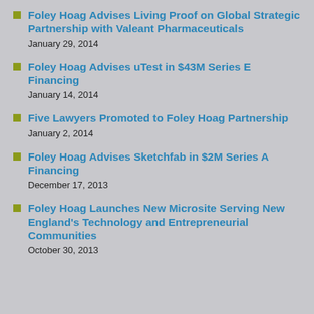Foley Hoag Advises Living Proof on Global Strategic Partnership with Valeant Pharmaceuticals
January 29, 2014
Foley Hoag Advises uTest in $43M Series E Financing
January 14, 2014
Five Lawyers Promoted to Foley Hoag Partnership
January 2, 2014
Foley Hoag Advises Sketchfab in $2M Series A Financing
December 17, 2013
Foley Hoag Launches New Microsite Serving New England's Technology and Entrepreneurial Communities
October 30, 2013